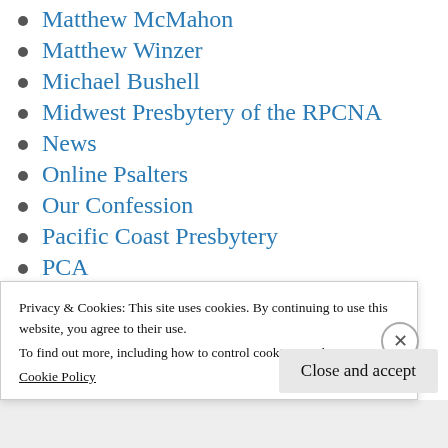Matthew McMahon
Matthew Winzer
Michael Bushell
Midwest Presbytery of the RPCNA
News
Online Psalters
Our Confession
Pacific Coast Presbytery
PCA
Project Psalms
Psalter Reviews
Privacy & Cookies: This site uses cookies. By continuing to use this website, you agree to their use.
To find out more, including how to control cookies, see here: Cookie Policy
Close and accept